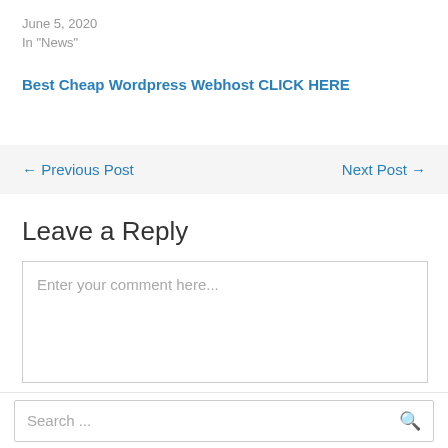June 5, 2020
In "News"
Best Cheap Wordpress Webhost CLICK HERE
← Previous Post
Next Post →
Leave a Reply
Enter your comment here...
Search ...